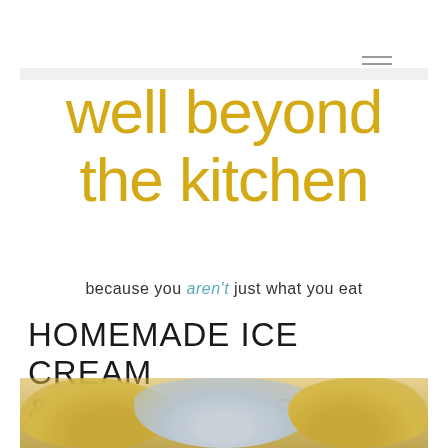[Figure (screenshot): Hamburger menu icon (three horizontal lines) in gray, top right corner]
well beyond the kitchen
because you aren't just what you eat
HOMEMADE ICE CREAM & STAYCATIONS
[Figure (photo): Partially visible photo at bottom showing blurred ice cream scoops in golden/yellow tones with a pale blue-gray center scoop]